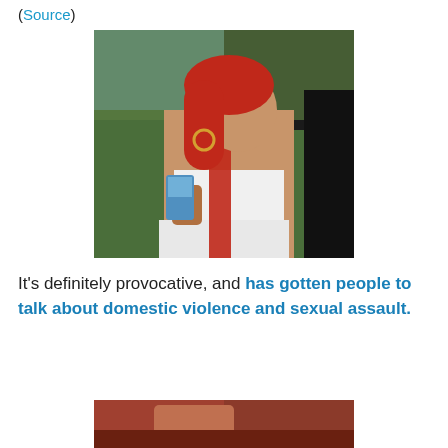(Source)
[Figure (photo): Woman with long red braided hair wearing a white crop top, holding a blue beverage, photographed outdoors.]
It's definitely provocative, and has gotten people to talk about domestic violence and sexual assault.
[Figure (photo): Partial photo visible at bottom of page, cropped.]